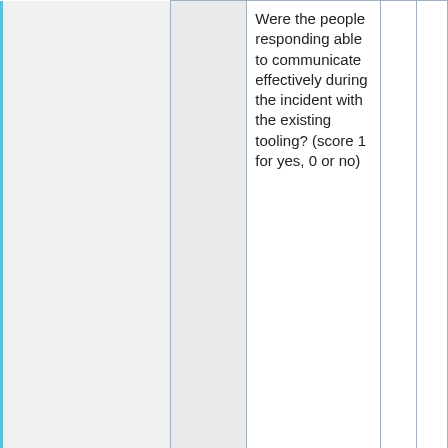|  | Category | Question |  |  |
| --- | --- | --- | --- | --- |
|  | Tooling | Were the people responding able to communicate effectively during the incident with the existing tooling? (score 1 for yes, 0 or no) |  |  |
|  |  | Did existing monitoring notify the initial responders? (score 1 for yes, 0 for no) |  |  |
|  |  | Were all |  |  |